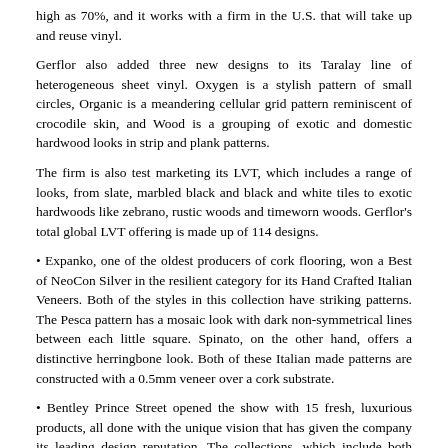high as 70%, and it works with a firm in the U.S. that will take up and reuse vinyl.
Gerflor also added three new designs to its Taralay line of heterogeneous sheet vinyl. Oxygen is a stylish pattern of small circles, Organic is a meandering cellular grid pattern reminiscent of crocodile skin, and Wood is a grouping of exotic and domestic hardwood looks in strip and plank patterns.
The firm is also test marketing its LVT, which includes a range of looks, from slate, marbled black and black and white tiles to exotic hardwoods like zebrano, rustic woods and timeworn woods. Gerflor's total global LVT offering is made up of 114 designs.
• Expanko, one of the oldest producers of cork flooring, won a Best of NeoCon Silver in the resilient category for its Hand Crafted Italian Veneers. Both of the styles in this collection have striking patterns. The Pesca pattern has a mosaic look with dark non-symmetrical lines between each little square. Spinato, on the other hand, offers a distinctive herringbone look. Both of these Italian made patterns are constructed with a 0.5mm veneer over a cork substrate.
• Bentley Prince Street opened the show with 15 fresh, luxurious products, all done with the unique vision that has given the company its leading design reputation. The collections, which include both carpet tile